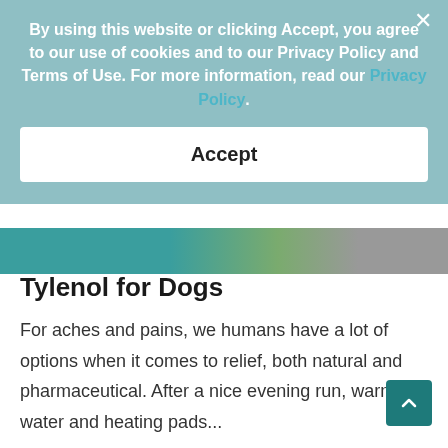By using this website or clicking Accept, you agree to our use of cookies and to our Privacy Policy and Terms of Use. For more information, read our Privacy Policy.
Accept
Tylenol for Dogs
For aches and pains, we humans have a lot of options when it comes to relief, both natural and pharmaceutical. After a nice evening run, warm water and heating pads...
December 14, 2021